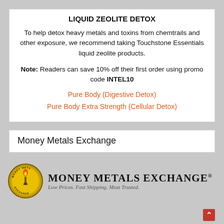LIQUID ZEOLITE DETOX
To help detox heavy metals and toxins from chemtrails and other exposure, we recommend taking Touchstone Essentials liquid zeolite products.
Note: Readers can save 10% off their first order using promo code INTEL10
Pure Body (Digestive Detox)
Pure Body Extra Strength (Cellular Detox)
Money Metals Exchange
[Figure (logo): Money Metals Exchange logo: circular gold medallion with torch on left, bold serif text 'MONEY METALS EXCHANGE' with registered trademark symbol, italic tagline 'Low Prices. Fast Shipping. Most Trusted.']